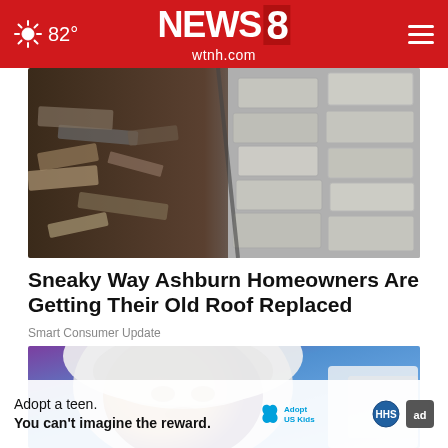82° NEWS 8 wtnh.com
[Figure (photo): Aerial or close-up view of damaged/old roof shingles debris]
Sneaky Way Ashburn Homeowners Are Getting Their Old Roof Replaced
Smart Consumer Update
[Figure (photo): Close-up photo of a person wearing a white hooded garment, blurred face visible, blue sky background]
Adopt a teen.
You can't imagine the reward.